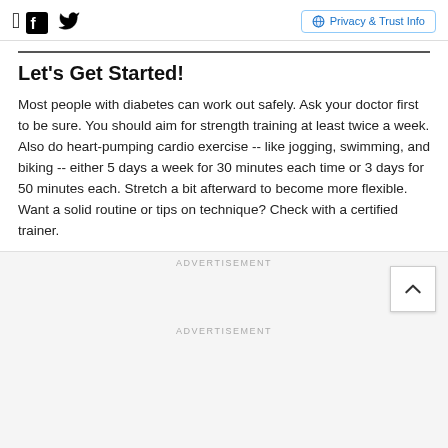Facebook Twitter | Privacy & Trust Info
Let's Get Started!
Most people with diabetes can work out safely. Ask your doctor first to be sure. You should aim for strength training at least twice a week. Also do heart-pumping cardio exercise -- like jogging, swimming, and biking -- either 5 days a week for 30 minutes each time or 3 days for 50 minutes each. Stretch a bit afterward to become more flexible. Want a solid routine or tips on technique? Check with a certified trainer.
ADVERTISEMENT
ADVERTISEMENT